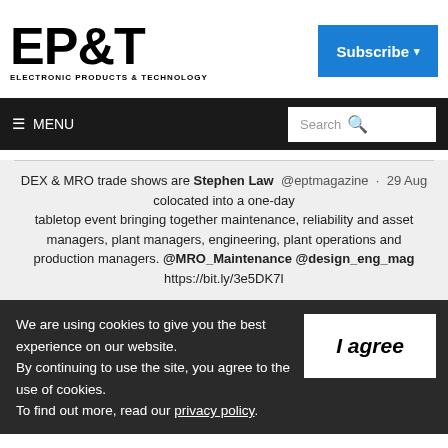[Figure (logo): EP&T Electronic Products & Technology logo in bold black text]
Subscribe ▾
≡ MENU   Search 🔍
DEX & MRO trade shows are Stephen Law @eptmagazine · 29 Aug colocated into a one-day tabletop event bringing together maintenance, reliability and asset managers, plant managers, engineering, plant operations and production managers. @MRO_Maintenance @design_eng_mag https://bit.ly/3e5DK7I
We are using cookies to give you the best experience on our website.
By continuing to use the site, you agree to the use of cookies.
To find out more, read our privacy policy.